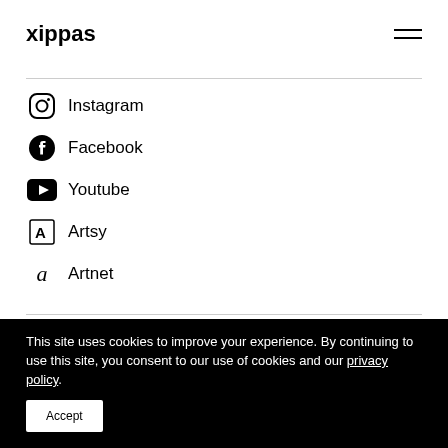xippas
Instagram
Facebook
Youtube
Artsy
Artnet
Paris
Geneva
This site uses cookies to improve your experience. By continuing to use this site, you consent to our use of cookies and our privacy policy.